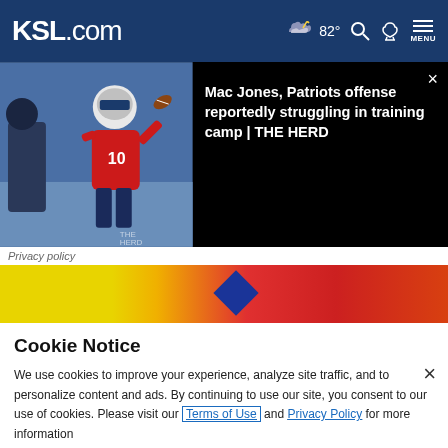KSL.com  82°  MENU
[Figure (screenshot): News card showing football player #10 throwing a pass at training camp, with headline: Mac Jones, Patriots offense reportedly struggling in training camp | THE HERD]
Privacy policy
[Figure (photo): Colorful advertisement banner with yellow, red and orange gradient background, with dark blue diamond shape]
Cookie Notice
We use cookies to improve your experience, analyze site traffic, and to personalize content and ads. By continuing to use our site, you consent to our use of cookies. Please visit our Terms of Use and  Privacy Policy for more information
[Figure (infographic): Bottom advertisement: Visit Premium Outlets® - Leesburg Premium Outlets, with circular infinity logo and blue diamond navigation icon]